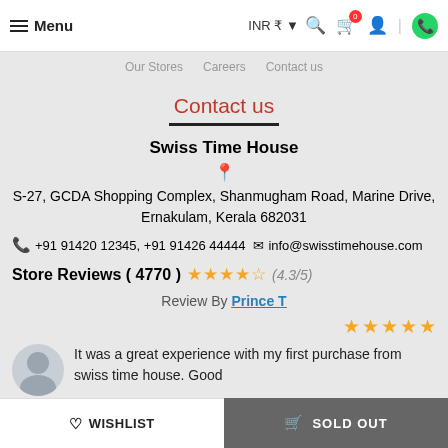Menu  INR ₹  [search] [cart 0] [user] [whatsapp]
Our Stores  Careers  Contact us
Contact us
Swiss Time House
S-27, GCDA Shopping Complex, Shanmugham Road, Marine Drive, Ernakulam, Kerala 682031
+91 91420 12345, +91 91426 44444  info@swisstimehouse.com
Store Reviews ( 4770 ) ★★★★½ (4.3/5)
Review By Prince T
It was a great experience with my first purchase from swiss time house. Good